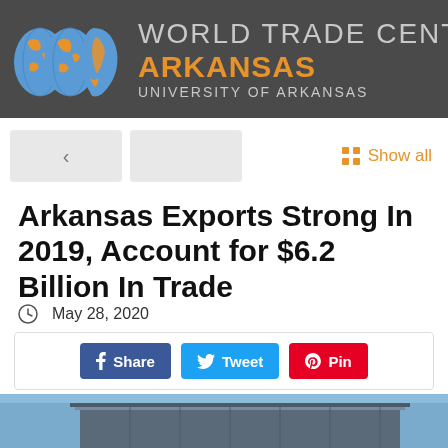[Figure (logo): World Trade Center Arkansas - University of Arkansas logo with globe icons on dark gray background]
[Figure (other): Navigation previous and next buttons, and Show all link with grid icon]
Arkansas Exports Strong In 2019, Account for $6.2 Billion In Trade
May 28, 2020
[Figure (other): Social share buttons: Facebook Share, Twitter Tweet, Pinterest Pin]
[Figure (photo): Exterior architectural photo of a modern building with metal roof elements against a blue sky]